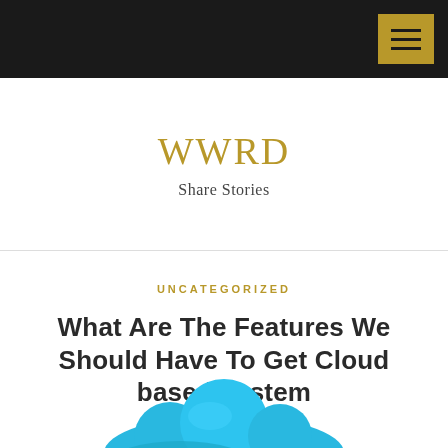WWRD — Share Stories (navigation bar with menu button)
WWRD
Share Stories
UNCATEGORIZED
What Are The Features We Should Have To Get Cloud based system
DECEMBER 7, 2018
[Figure (photo): Blue 3D cloud icon, bottom of page, partially cropped]